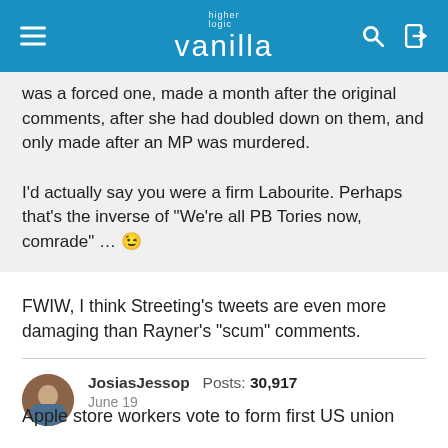higher logic vanilla
was a forced one, made a month after the original comments, after she had doubled down on them, and only made after an MP was murdered.

I'd actually say you were a firm Labourite. Perhaps that's the inverse of "We're all PB Tories now, comrade" … 😉
FWIW, I think Streeting's tweets are even more damaging than Rayner's "scum" comments.
JosiasJessop   Posts: 30,917
June 19
Apple store workers vote to form first US union